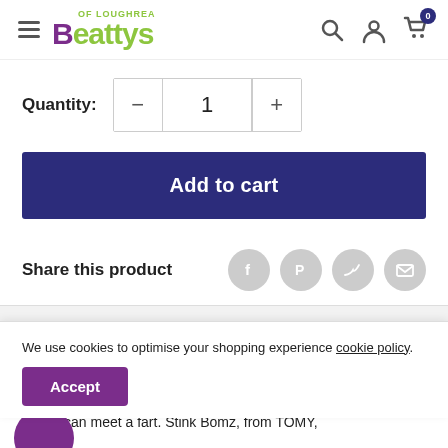Beattys of Loughrea
Quantity: 1
Add to cart
Share this product
We use cookies to optimise your shopping experience cookie policy.
Accept
to... you can meet a fart. Stink Bomz, from TOMY,